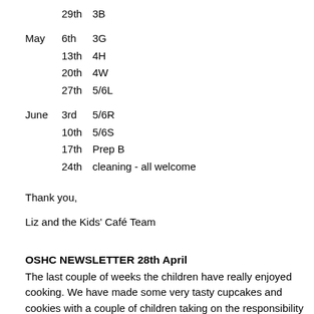29th  3B
May  6th  3G
13th  4H
20th  4W
27th  5/6L
June  3rd  5/6R
10th  5/6S
17th  Prep B
24th  cleaning - all welcome
Thank you,
Liz and the Kids' Café Team
OSHC NEWSLETTER 28th April
The last couple of weeks the children have really enjoyed cooking. We have made some very tasty cupcakes and cookies with a couple of children taking on the responsibility of being head chef. It...